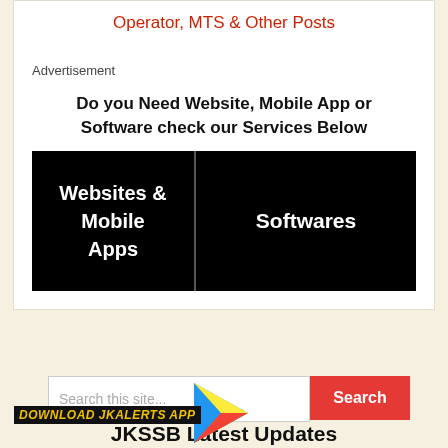Operator, MTS & Other Posts
Advertisement
Do you Need Website, Mobile App or Software check our Services Below
[Figure (infographic): Black banner with two sections: left section says 'Websites & Mobile Apps', right section says 'Softwares']
[Figure (screenshot): Search bar with placeholder 'Search this site...' and red Search button, Google Play triangle logo, and 'DOWNLOAD JKALERTS APP' text label]
JKSSB Latest Updates